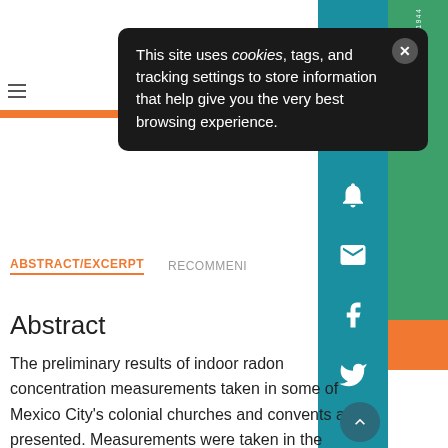[Figure (screenshot): Cookie consent popup overlay on a scientific journal website showing abstract of a paper about indoor radon concentration measurements in Mexico City colonial churches.]
This site uses cookies, tags, and tracking settings to store information that help give you the very best browsing experience.
ABSTRACT/EXCERPT
RECOMMEND
Abstract
The preliminary results of indoor radon concentration measurements taken in some of Mexico City's colonial churches and convents are presented. Measurements were taken in the churches of Santa Catarina, La Conchita, San Juan Bautista, San Antonio Panzacola, San Diego and